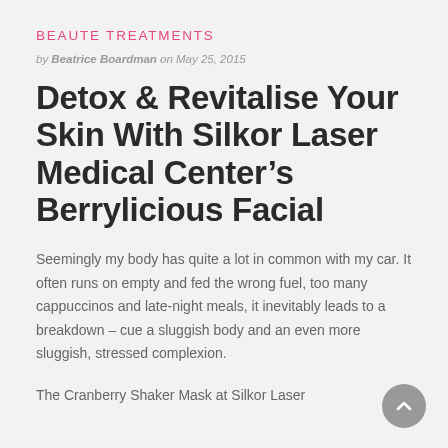BEAUTE TREATMENTS
by Beatrice Boardman on May 25, 2015
Detox & Revitalise Your Skin With Silkor Laser Medical Center’s Berrylicious Facial
Seemingly my body has quite a lot in common with my car. It often runs on empty and fed the wrong fuel, too many cappuccinos and late-night meals, it inevitably leads to a breakdown – cue a sluggish body and an even more sluggish, stressed complexion.
The Cranberry Shaker Mask at Silkor Laser